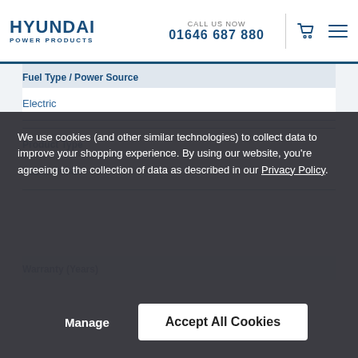HYUNDAI POWER PRODUCTS | CALL US NOW 01646 687 880
Fuel Type / Power Source
Electric
Product Type
Paddle Mixer
Warranty (Years)
We use cookies (and other similar technologies) to collect data to improve your shopping experience. By using our website, you're agreeing to the collection of data as described in our Privacy Policy.
Manage
Accept All Cookies